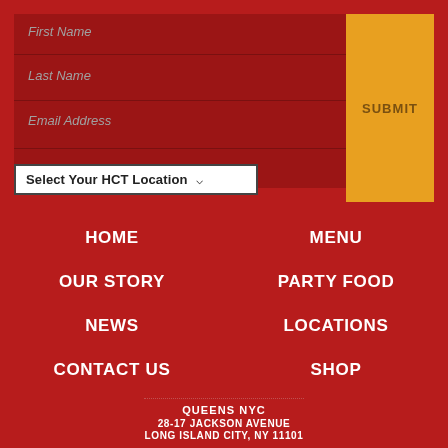First Name
Last Name
Email Address
Select Your HCT Location
SUBMIT
HOME
MENU
OUR STORY
PARTY FOOD
NEWS
LOCATIONS
CONTACT US
SHOP
QUEENS NYC
28-17 JACKSON AVENUE
LONG ISLAND CITY, NY 11101
(929) 510-7002
LOCATION DETAILS